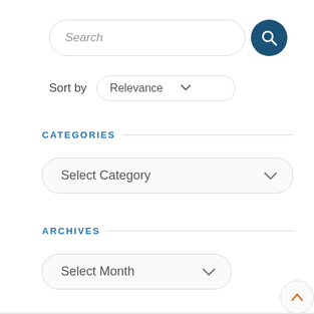[Figure (screenshot): Search input box with magnifying glass button on the right]
Sort by  Relevance ▾
CATEGORIES
[Figure (screenshot): Select Category dropdown]
ARCHIVES
[Figure (screenshot): Select Month dropdown]
[Figure (screenshot): Scroll to top button with orange arrow]